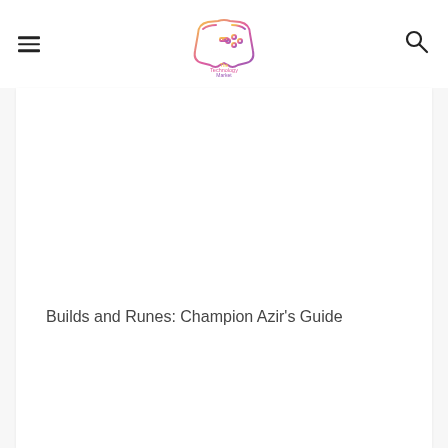The Technology Market
Builds and Runes: Champion Azir's Guide